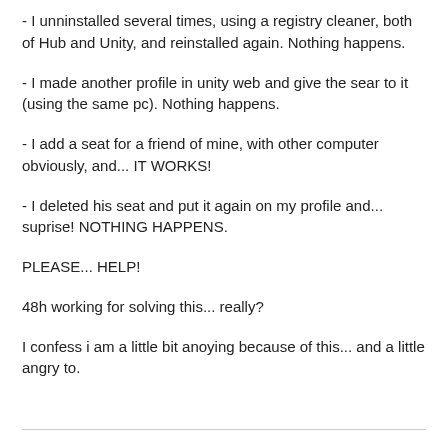- I unninstalled several times, using a registry cleaner, both of Hub and Unity, and reinstalled again. Nothing happens.
- I made another profile in unity web and give the sear to it (using the same pc). Nothing happens.
- I add a seat for a friend of mine, with other computer obviously, and... IT WORKS!
- I deleted his seat and put it again on my profile and... suprise! NOTHING HAPPENS.
PLEASE... HELP!
48h working for solving this... really?
I confess i am a little bit anoying because of this... and a little angry to.